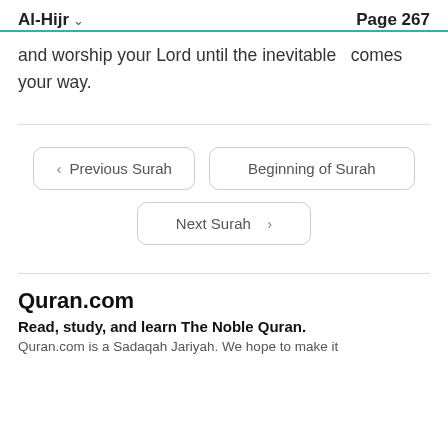Al-Hijr  Page 267
and worship your Lord until the inevitable comes your way.
< Previous Surah  |  Beginning of Surah  |  Next Surah >
Quran.com
Read, study, and learn The Noble Quran.
Quran.com is a Sadaqah Jariyah. We hope to make it